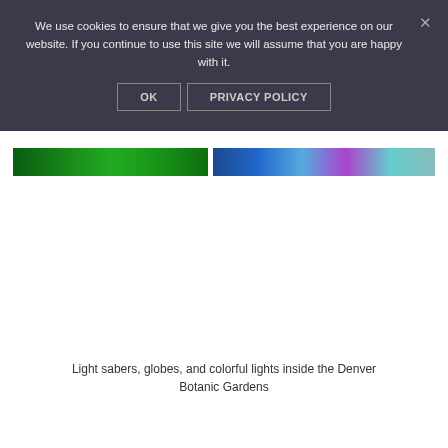We use cookies to ensure that we give you the best experience on our website. If you continue to use this site we will assume that you are happy with it.
OK   PRIVACY POLICY
[Figure (photo): Partial view of a colorful light display — left portion shows green lights (light sabers/plant-like), right portion shows blue, purple, and teal colored lights, inside the Denver Botanic Gardens.]
Light sabers, globes, and colorful lights inside the Denver Botanic Gardens